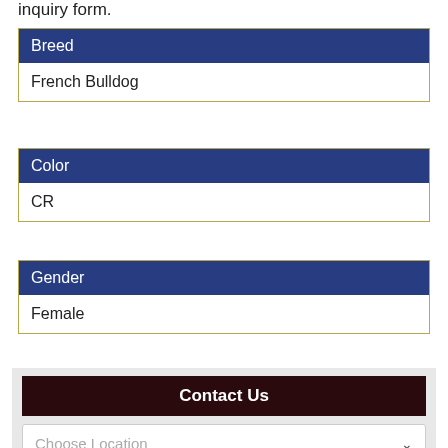inquiry form.
| Breed |
| --- |
| French Bulldog |
| Color |
| --- |
| CR |
| Gender |
| --- |
| Female |
Contact Us
Choose Location